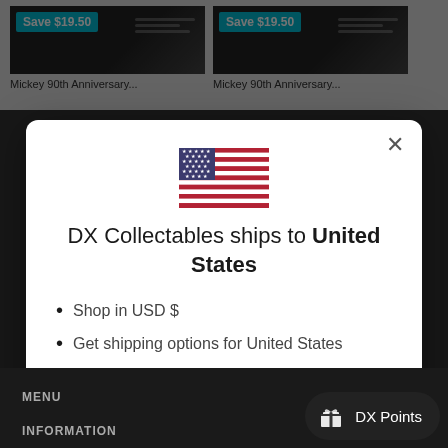[Figure (screenshot): Background showing two product cards with 'Save $19.50' cyan badges on dark product images, partially visible behind modal overlay]
[Figure (illustration): United States flag SVG illustration centered in modal]
DX Collectables ships to United States
Shop in USD $
Get shipping options for United States
Shop now
Change shipping country
MENU
INFORMATION
DX Points